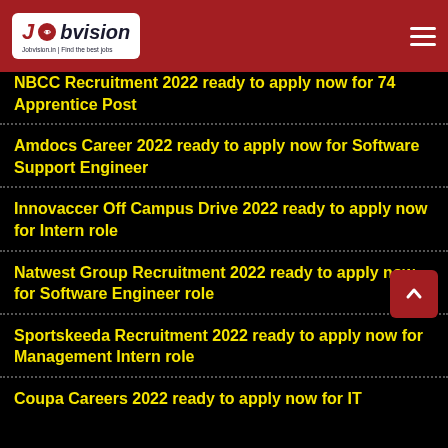Jobvision.in | Find the best jobs
NBCC Recruitment 2022 ready to apply now for 74 Apprentice Post
Amdocs Career 2022 ready to apply now for Software Support Engineer
Innovaccer Off Campus Drive 2022 ready to apply now for Intern role
Natwest Group Recruitment 2022 ready to apply now for Software Engineer role
Sportskeeda Recruitment 2022 ready to apply now for Management Intern role
Coupa Careers 2022 ready to apply now for IT